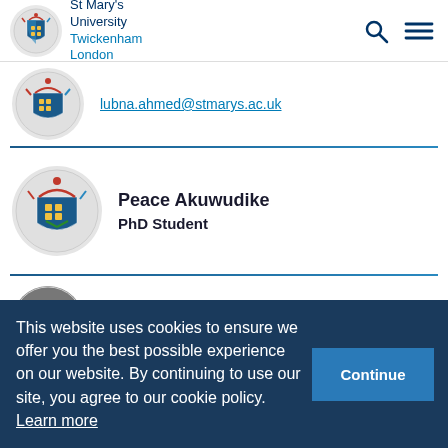St Mary's University Twickenham London
lubna.ahmed@stmarys.ac.uk
Peace Akuwudike
PhD Student
Tatiana Alafouzo
This website uses cookies to ensure we offer you the best possible experience on our website. By continuing to use our site, you agree to our cookie policy. Learn more